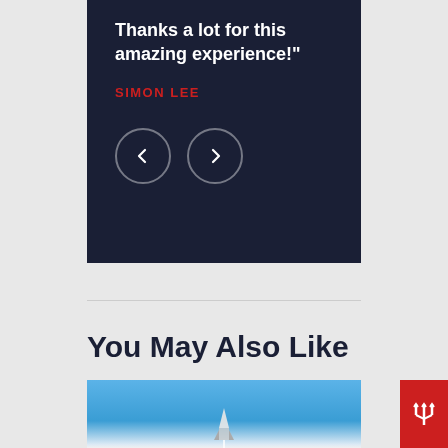Thanks a lot for this amazing experience!"
SIMON LEE
[Figure (screenshot): Dark navy card with testimonial quote, author name in red, and two circular navigation buttons (left and right arrows)]
You May Also Like
[Figure (photo): Blue sky photo with rocket/missile tip visible at bottom center, and red icon with trident symbol at bottom right]